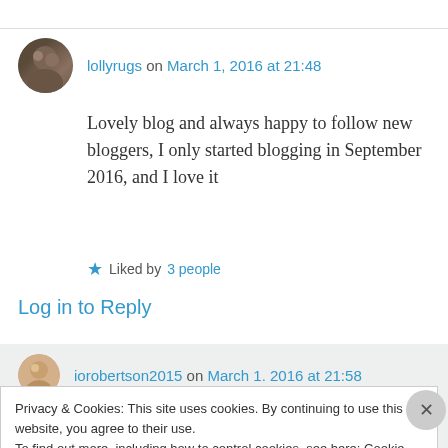lollyrugs on March 1, 2016 at 21:48
Lovely blog and always happy to follow new bloggers, I only started blogging in September 2016, and I love it
Liked by 3 people
Log in to Reply
iorobertson2015 on March 1. 2016 at 21:58
Privacy & Cookies: This site uses cookies. By continuing to use this website, you agree to their use.
To find out more, including how to control cookies, see here: Cookie Policy
Close and accept